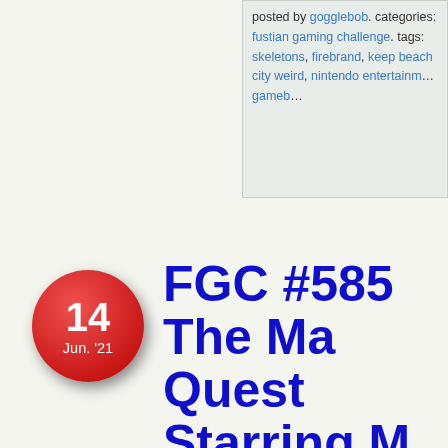posted by gogglebob. categories: fustian gaming challenge. tags: skeletons, firebrand, keep beach city weird, nintendo entertainm... gameb...
FGC #585 The Ma... Quest Starring M... Mouse
With the recent release of Ghosts 'n Goblins Resurrection, a lot of people are revisiting the Ghosts 'n Goblins franchise. And it isn't all that hard! For a franchise that is fondly remembered from the early days of gaming, there have not been that many GnG titles through the generations. Aside from a few...
[Figure (screenshot): Dark nighttime game screenshot showing a graveyard/castle scene with a large moon in the sky and stone architecture, from a Ghosts 'n Goblins style game]